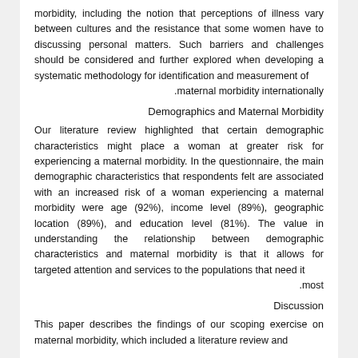morbidity, including the notion that perceptions of illness vary between cultures and the resistance that some women have to discussing personal matters. Such barriers and challenges should be considered and further explored when developing a systematic methodology for identification and measurement of maternal morbidity internationally.
Demographics and Maternal Morbidity
Our literature review highlighted that certain demographic characteristics might place a woman at greater risk for experiencing a maternal morbidity. In the questionnaire, the main demographic characteristics that respondents felt are associated with an increased risk of a woman experiencing a maternal morbidity were age (92%), income level (89%), geographic location (89%), and education level (81%). The value in understanding the relationship between demographic characteristics and maternal morbidity is that it allows for targeted attention and services to the populations that need it most.
Discussion
This paper describes the findings of our scoping exercise on maternal morbidity, which included a literature review and